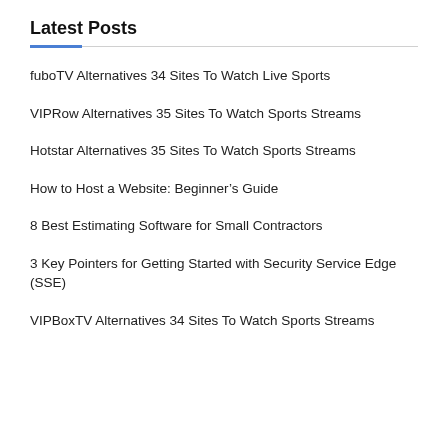Latest Posts
fuboTV Alternatives 34 Sites To Watch Live Sports
VIPRow Alternatives 35 Sites To Watch Sports Streams
Hotstar Alternatives 35 Sites To Watch Sports Streams
How to Host a Website: Beginner's Guide
8 Best Estimating Software for Small Contractors
3 Key Pointers for Getting Started with Security Service Edge (SSE)
VIPBoxTV Alternatives 34 Sites To Watch Sports Streams